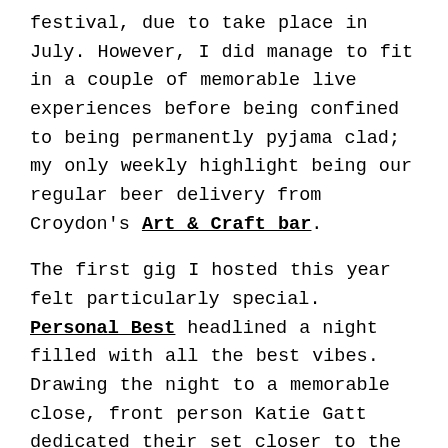festival, due to take place in July. However, I did manage to fit in a couple of memorable live experiences before being confined to being permanently pyjama clad; my only weekly highlight being our regular beer delivery from Croydon's Art & Craft bar.

The first gig I hosted this year felt particularly special. Personal Best headlined a night filled with all the best vibes. Drawing the night to a memorable close, front person Katie Gatt dedicated their set closer to the queer community. As a sea of buoyant voices joined in with “I wanna kiss you in